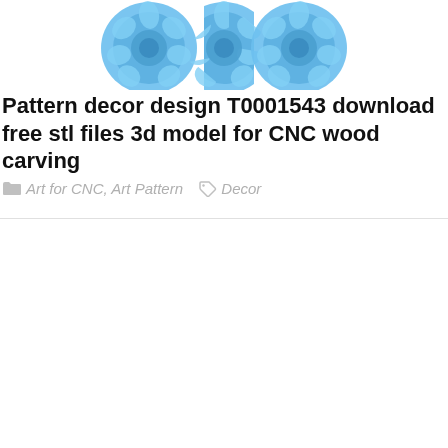[Figure (illustration): 3D rendered decorative pattern design T0001543 showing three circular ornamental medallions with blue color, floral and leaf motifs, arranged side by side. The middle one is split in half.]
Pattern decor design T0001543 download free stl files 3d model for CNC wood carving
Art for CNC, Art Pattern   Decor